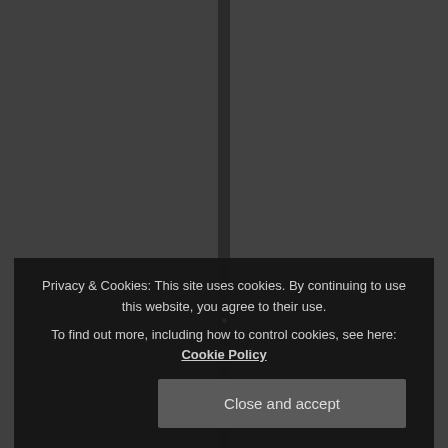[Figure (screenshot): Dark gray two-panel background with a vertical divider strip in the center and a small white dot near the center]
Privacy & Cookies: This site uses cookies. By continuing to use this website, you agree to their use.
To find out more, including how to control cookies, see here: Cookie Policy
Close and accept